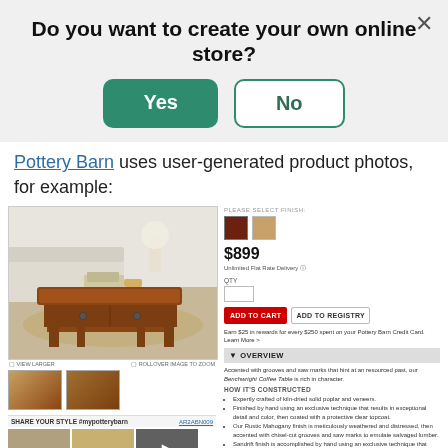Do you want to create your own online store?
Pottery Barn uses user-generated product photos, for example:
[Figure (screenshot): Pottery Barn product page screenshot showing a Benchwright Coffee Table with dark and light finish swatches, priced at $899, with Add to Cart and Add to Registry buttons, overview and construction details, and user-generated photos section at bottom.]